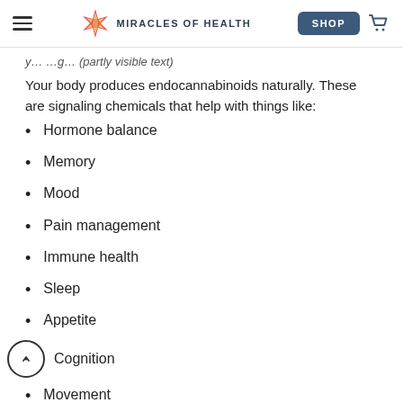MIRACLES OF HEALTH — SHOP
Your body produces endocannabinoids naturally. These are signaling chemicals that help with things like:
Hormone balance
Memory
Mood
Pain management
Immune health
Sleep
Appetite
Cognition
Movement